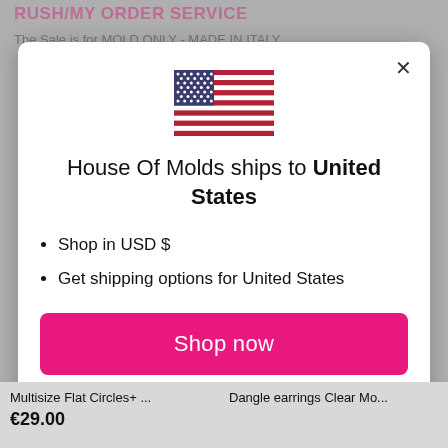RUSH/MY ORDER SERVICE
The Sale is for MOLD ONLY - MADE IN ITALY
[Figure (illustration): US flag SVG illustration]
House Of Molds ships to United States
Shop in USD $
Get shipping options for United States
Shop now
Change shipping country
Multisize Flat Circles+ ...
€29.00
Dangle earrings Clear Mo...